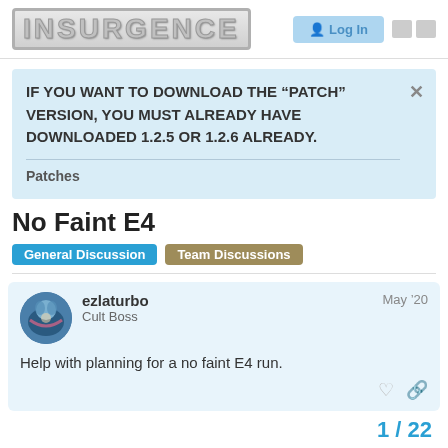INSURGENCE — Log In
IF YOU WANT TO DOWNLOAD THE “PATCH” VERSION, YOU MUST ALREADY HAVE DOWNLOADED 1.2.5 OR 1.2.6 ALREADY.
Patches
No Faint E4
General Discussion   Team Discussions
ezlaturbo   Cult Boss   May ’20
Help with planning for a no faint E4 run.
1 / 22
created   last reply   21